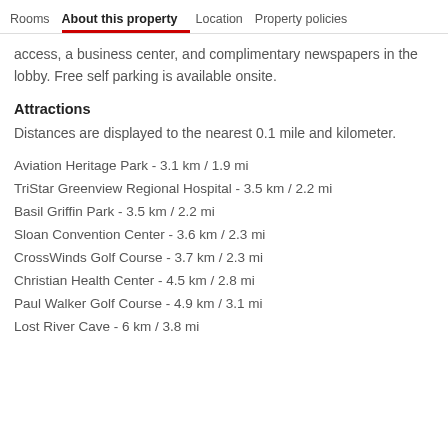Rooms | About this property | Location | Property policies
access, a business center, and complimentary newspapers in the lobby. Free self parking is available onsite.
Attractions
Distances are displayed to the nearest 0.1 mile and kilometer.
Aviation Heritage Park - 3.1 km / 1.9 mi
TriStar Greenview Regional Hospital - 3.5 km / 2.2 mi
Basil Griffin Park - 3.5 km / 2.2 mi
Sloan Convention Center - 3.6 km / 2.3 mi
CrossWinds Golf Course - 3.7 km / 2.3 mi
Christian Health Center - 4.5 km / 2.8 mi
Paul Walker Golf Course - 4.9 km / 3.1 mi
Lost River Cave - 6 km / 3.8 mi